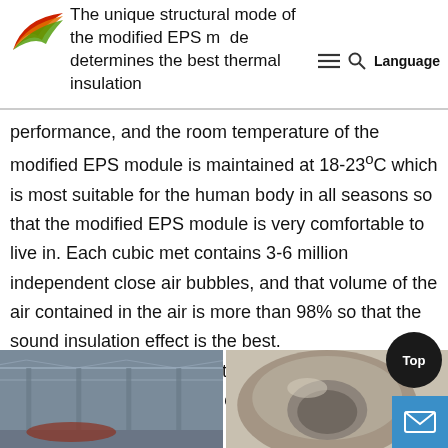The unique structural mode of the modified EPS mode determines the best thermal insulation
performance, and the room temperature of the modified EPS module is maintained at 18-23ºC which is most suitable for the human body in all seasons so that the modified EPS module is very comfortable to live in. Each cubic met contains 3-6 million independent close air bubbles, and that volume of the air contained in the air is more than 98% so that the sound insulation effect is the best.
It can resist 12-magnitude typhoons, 7-magnitude earthquakes and 2 meters of snow.
[Figure (photo): Interior of an industrial facility or factory building with structural steel framework visible]
[Figure (photo): Industrial machinery or equipment, appears to be a large cylindrical or curved metal component]